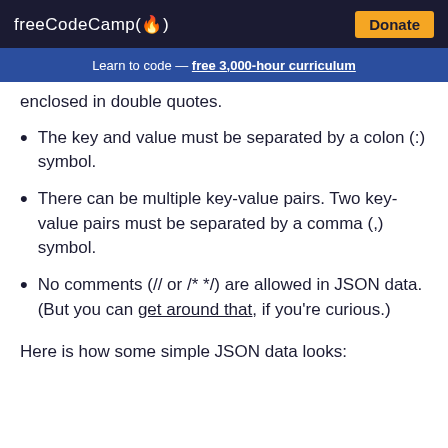freeCodeCamp(🔥) Donate
Learn to code — free 3,000-hour curriculum
enclosed in double quotes.
The key and value must be separated by a colon (:) symbol.
There can be multiple key-value pairs. Two key-value pairs must be separated by a comma (,) symbol.
No comments (// or /* */) are allowed in JSON data. (But you can get around that, if you're curious.)
Here is how some simple JSON data looks: